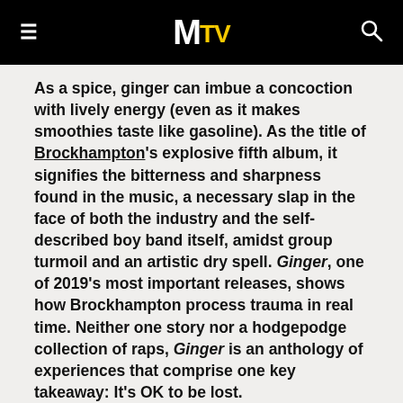MTV
As a spice, ginger can imbue a concoction with lively energy (even as it makes smoothies taste like gasoline). As the title of Brockhampton's explosive fifth album, it signifies the bitterness and sharpness found in the music, a necessary slap in the face of both the industry and the self-described boy band itself, amidst group turmoil and an artistic dry spell. Ginger, one of 2019's most important releases, shows how Brockhampton process trauma in real time. Neither one story nor a hodgepodge collection of raps, Ginger is an anthology of experiences that comprise one key takeaway: It's OK to be lost.
The group's mythos is whispered around as legend. The collective of rappers, producers, and artists connected in 2014 on a fan forum called Kanye To The. A few